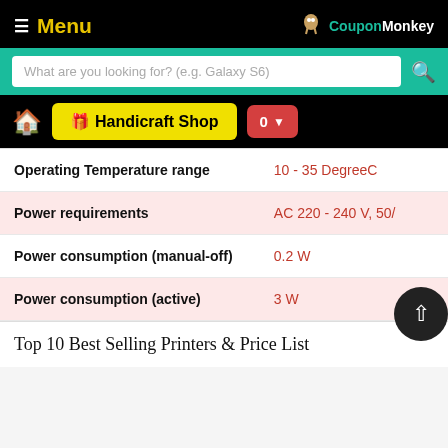Menu | CouponMonkey
What are you looking for? (e.g. Galaxy S6)
Handicraft Shop | 0
| Specification | Value |
| --- | --- |
| Operating Temperature range | 10 - 35 DegreeC |
| Power requirements | AC 220 - 240 V, 50/ |
| Power consumption (manual-off) | 0.2 W |
| Power consumption (active) | 3 W |
Top 10 Best Selling Printers & Price List